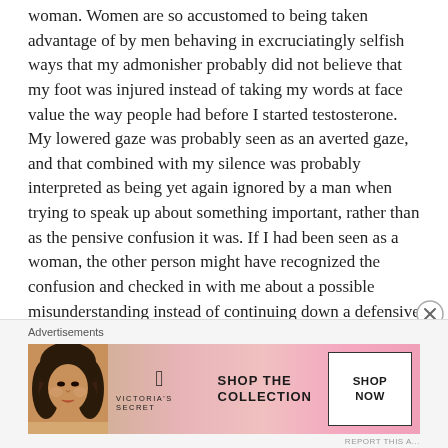woman. Women are so accustomed to being taken advantage of by men behaving in excruciatingly selfish ways that my admonisher probably did not believe that my foot was injured instead of taking my words at face value the way people had before I started testosterone. My lowered gaze was probably seen as an averted gaze, and that combined with my silence was probably interpreted as being yet again ignored by a man when trying to speak up about something important, rather than as the pensive confusion it was. If I had been seen as a woman, the other person might have recognized the confusion and checked in with me about a possible misunderstanding instead of continuing down a defensive path. The sudden cheery departure was probably a response to the common fear of being followed by a mean man from a bus.
Advertisements
[Figure (other): Victoria's Secret advertisement banner with a model photo on the left, VS logo in the center, 'SHOP THE COLLECTION' text, and a 'SHOP NOW' button on the right, on a pink gradient background.]